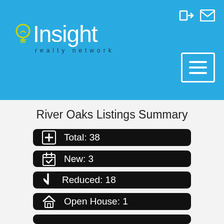Insight realty network
River Oaks Listings Summary
Total: 38
New: 3
Reduced: 18
Open House: 1